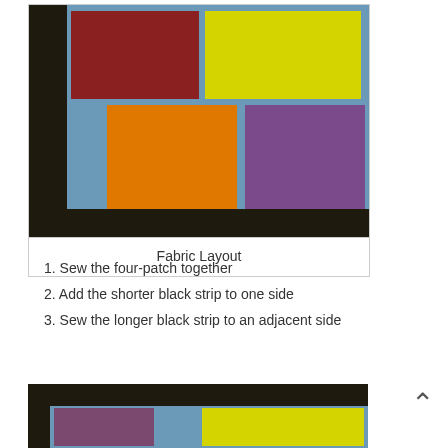[Figure (photo): Photo of colorful fabric patches (red, yellow, orange, purple) arranged on a blue cutting mat with black fabric strips on the left and bottom — a quilt layout.]
Fabric Layout
1. Sew the four-patch together
2. Add the shorter black strip to one side
3. Sew the longer black strip to an adjacent side
[Figure (photo): Partial photo showing the quilt block in progress with black strips attached to top and left, purple and yellow patches visible.]